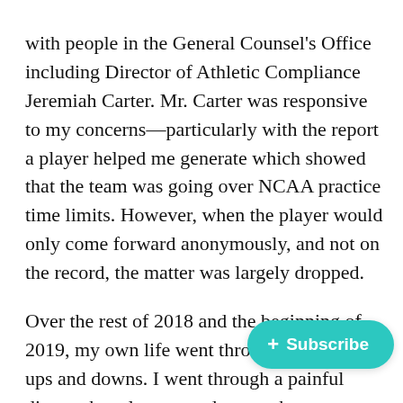with people in the General Counsel's Office including Director of Athletic Compliance Jeremiah Carter. Mr. Carter was responsive to my concerns—particularly with the report a player helped me generate which showed that the team was going over NCAA practice time limits. However, when the player would only come forward anonymously, and not on the record, the matter was largely dropped.
Over the rest of 2018 and the beginning of 2019, my own life went through a series of ups and downs. I went through a painful divorce but also secured a new three-year work contract through negotiation with the dean of my college Dean Jean Quam. I was very happy about the contract as I knew it would allow and freedom to work on the problems the football program.
[Figure (other): Teal/cyan Subscribe button with plus icon overlaid on the text]